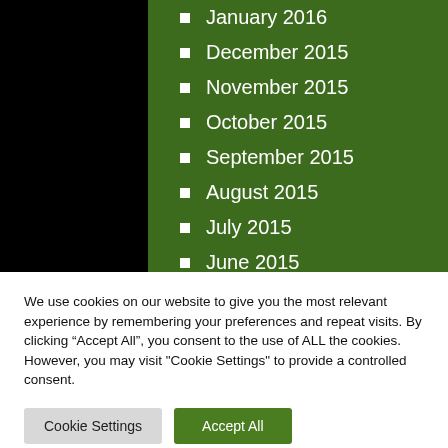January 2016
December 2015
November 2015
October 2015
September 2015
August 2015
July 2015
June 2015
We use cookies on our website to give you the most relevant experience by remembering your preferences and repeat visits. By clicking “Accept All”, you consent to the use of ALL the cookies. However, you may visit "Cookie Settings" to provide a controlled consent.
Cookie Settings
Accept All